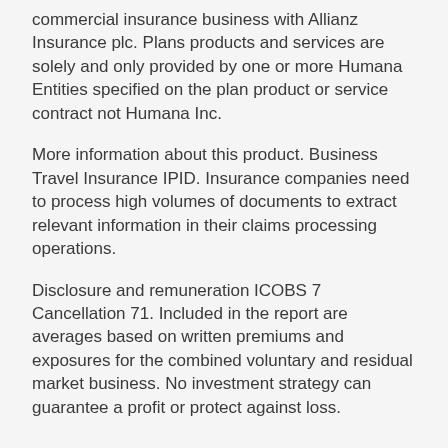commercial insurance business with Allianz Insurance plc. Plans products and services are solely and only provided by one or more Humana Entities specified on the plan product or service contract not Humana Inc.
More information about this product. Business Travel Insurance IPID. Insurance companies need to process high volumes of documents to extract relevant information in their claims processing operations.
Disclosure and remuneration ICOBS 7 Cancellation 71. Included in the report are averages based on written premiums and exposures for the combined voluntary and residual market business. No investment strategy can guarantee a profit or protect against loss.